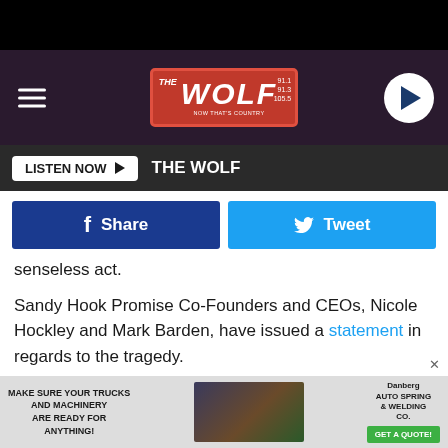[Figure (screenshot): The Wolf radio station website header banner with logo showing 91.1, 91.3, 105.5 frequencies, hamburger menu on left, play button on right]
[Figure (screenshot): Listen Now button bar with dark background and The Wolf label]
[Figure (screenshot): Facebook Share and Twitter Tweet social sharing buttons]
senseless act.
Sandy Hook Promise Co-Founders and CEOs, Nicole Hockley and Mark Barden, have issued a statement in regards to the tragedy.
They started off their statement saying,
We are grieving with the families of the innocent
[Figure (screenshot): Advertisement banner: Make sure your trucks and machinery are ready for anything! Danberg Auto Spring & Welding Co. Get a Quote!]